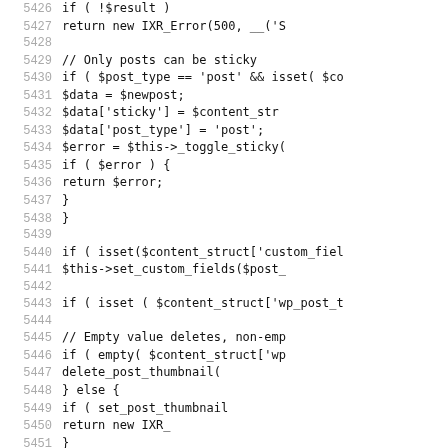Source code listing, lines 5426-5458, PHP code snippet from WordPress XMLRPC handler
5426: if ( !$result )
5427:         return new IXR_Error(500, __('S
5428:
5429: // Only posts can be sticky
5430: if ( $post_type == 'post' && isset( $co
5431:         $data = $newpost;
5432:         $data['sticky'] = $content_str
5433:         $data['post_type'] = 'post';
5434:         $error = $this->_toggle_sticky(
5435:         if ( $error ) {
5436:                 return $error;
5437:         }
5438: }
5439:
5440: if ( isset($content_struct['custom_fiel
5441:         $this->set_custom_fields($post_
5442:
5443: if ( isset ( $content_struct['wp_post_t
5444:
5445:         // Empty value deletes, non-emp
5446:         if ( empty( $content_struct['wp
5447:                 delete_post_thumbnail(
5448:         } else {
5449:                 if ( set_post_thumbnail
5450:                         return new IXR_
5451:         }
5452:         unset( $content_struct['wp_post
5453: }
5454:
5455: // Handle enclosures.
5456: $thisEnclosure = isset($content_struct[
5457: $this->add_enclosure_if_new($post_ID, $
5458: